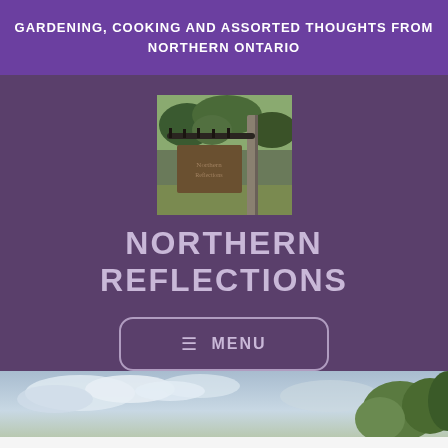GARDENING, COOKING AND ASSORTED THOUGHTS FROM NORTHERN ONTARIO
[Figure (photo): A photograph of a wooden sign on a gate post with trees in the background, representing the Northern Reflections blog logo.]
NORTHERN REFLECTIONS
≡ MENU
[Figure (photo): A landscape photo showing a blue sky with white clouds and green trees on the right side.]
Follow